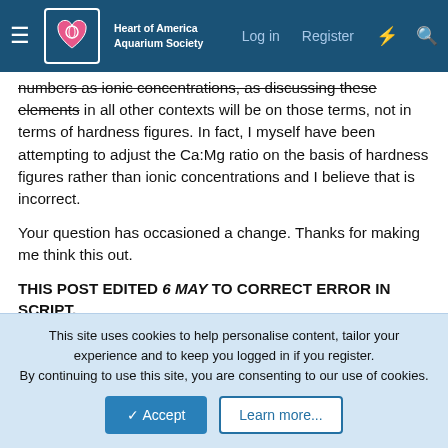Heart of America Aquarium Society — Log in | Register
numbers as ionic concentrations, as discussing these elements in all other contexts will be on those terms, not in terms of hardness figures. In fact, I myself have been attempting to adjust the Ca:Mg ratio on the basis of hardness figures rather than ionic concentrations and I believe that is incorrect.
Your question has occasioned a change. Thanks for making me think this out.
THIS POST EDITED 6 MAY TO CORRECT ERROR IN SCRIPT.
Last edited: May 6, 2022
Paul G
Active member
This site uses cookies to help personalise content, tailor your experience and to keep you logged in if you register.
By continuing to use this site, you are consenting to our use of cookies.